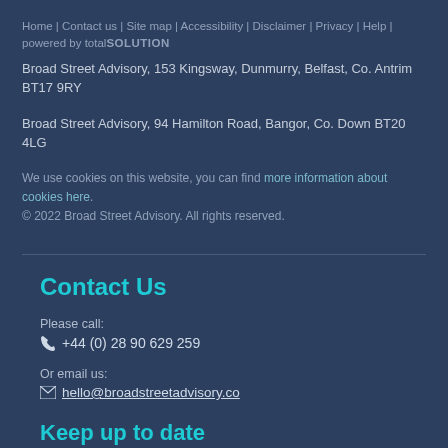Home | Contact us | Site map | Accessibility | Disclaimer | Privacy | Help | powered by totalSOLUTION
Broad Street Advisory, 153 Kingsway, Dunmurry, Belfast, Co. Antrim BT17 9RY
Broad Street Advisory, 94 Hamilton Road, Bangor, Co. Down BT20 4LG
We use cookies on this website, you can find more information about cookies here.
© 2022 Broad Street Advisory. All rights reserved.
Contact Us
Please call:
+44 (0) 28 90 629 259
Or email us:
hello@broadstreetadvisory.co
Keep up to date